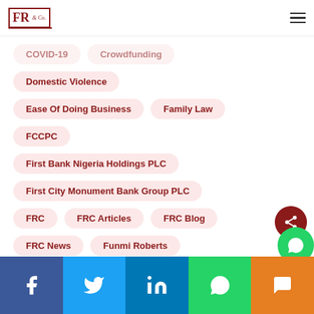FR & Co. Law Firm Logo and Navigation
COVID-19
Crowdfunding
Domestic Violence
Ease Of Doing Business
Family Law
FCCPC
First Bank Nigeria Holdings PLC
First City Monument Bank Group PLC
FRC
FRC Articles
FRC Blog
FRC News
Funmi Roberts
Funmi Roberts & Co.
GTBank PLC
Social share buttons: Facebook, Twitter, LinkedIn, WhatsApp